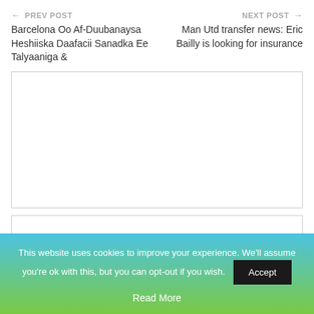← PREV POST
NEXT POST →
Barcelona Oo Af-Duubanaysa Heshiiska Daafacii Sanadka Ee Talyaaniga &
Man Utd transfer news: Eric Bailly is looking for insurance
[Figure (other): Large advertisement placeholder box with border]
[Figure (other): Small advertisement placeholder box with border]
This website uses cookies to improve your experience. We'll assume you're ok with this, but you can opt-out if you wish. Accept Read More